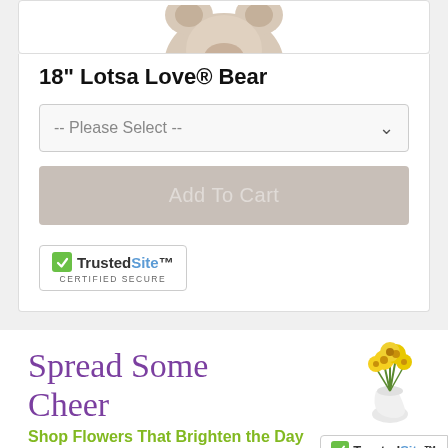[Figure (photo): Bottom portion of a white/beige teddy bear plush toy]
18" Lotsa Love® Bear
-- Please Select --
Add To Cart
[Figure (logo): TrustedSite Certified Secure badge]
Spread Some Cheer
Shop Flowers That Brighten the Day
[Figure (photo): Yellow flowers in a white vase]
Receive Special Offers
Sign Up Now
[Figure (logo): TrustedSite Certified Secure badge (bottom right)]